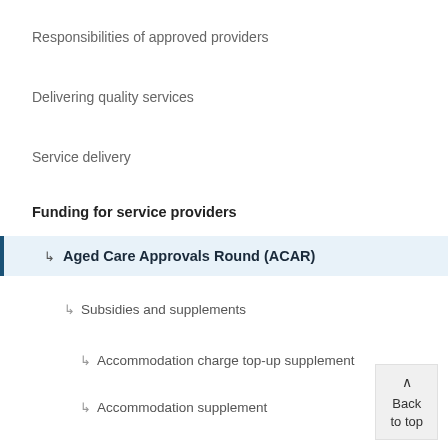Responsibilities of approved providers
Delivering quality services
Service delivery
Funding for service providers
Aged Care Approvals Round (ACAR)
Subsidies and supplements
Accommodation charge top-up supplement
Accommodation supplement